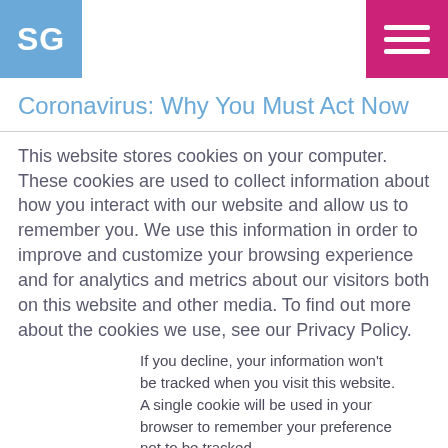SG [logo] | hamburger menu
Coronavirus: Why You Must Act Now
This website stores cookies on your computer. These cookies are used to collect information about how you interact with our website and allow us to remember you. We use this information in order to improve and customize your browsing experience and for analytics and metrics about our visitors both on this website and other media. To find out more about the cookies we use, see our Privacy Policy.
If you decline, your information won't be tracked when you visit this website. A single cookie will be used in your browser to remember your preference not to be tracked.
Accept | Decline